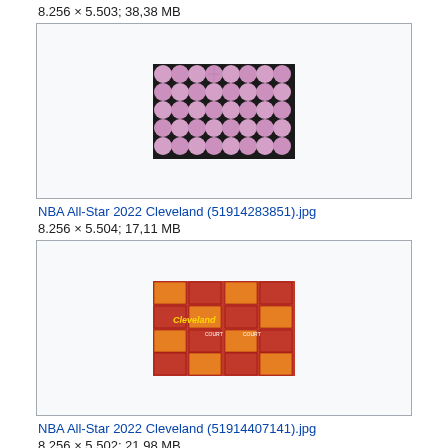8.256 × 5.503; 38,38 MB
[Figure (photo): Grid of pink/purple basketballs arranged in rows against a dark background]
NBA All-Star 2022 Cleveland (51914283851).jpg
8.256 × 5.504; 17,11 MB
[Figure (photo): Red and orange step-and-repeat banner with Cleveland NBA All-Star 2022 Court branding and logos]
NBA All-Star 2022 Cleveland (51914407141).jpg
8.256 × 5.502; 21,98 MB